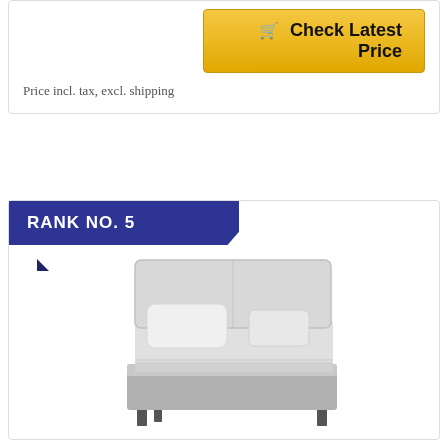Price incl. tax, excl. shipping
[Figure (other): Golden 'Check Latest Price' button with shopping cart icon]
RANK NO. 5
[Figure (photo): Split King bed with white sheets and pillows on a light gray bed frame]
TOP Split King Royal Collection 1900 Egyptian Cotton Bamboo Quality Bed Sheet Set with 1 Fitted Sheet with 36" Split TOP, 1 King Flat and 2 King P/Cases.No Wrinkle (White, TOP Split